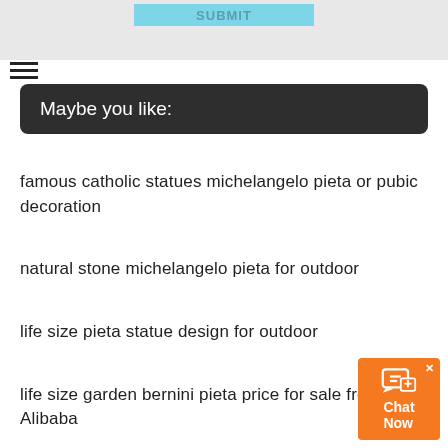[Figure (screenshot): Top gray area with a light blue SUBMIT button]
Maybe you like:
famous catholic statues michelangelo pieta or pubic decoration
natural stone michelangelo pieta for outdoor
life size pieta statue design for outdoor
life size garden bernini pieta price for sale from Alibaba
famous saint statue virgin mary with Jesus sculpture outdoor decoration